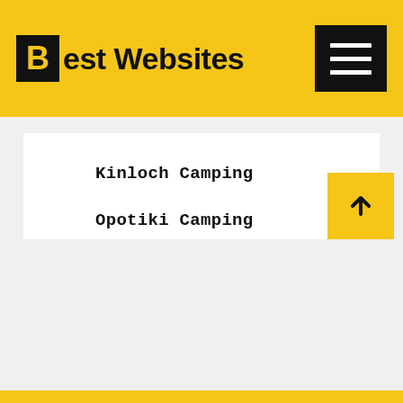Best Websites
Kinloch Camping
Opotiki Camping
Hanmer Springs Activities
Albert Town Pubs